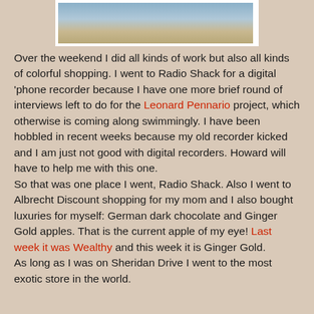[Figure (photo): Partial view of a store aisle with colorful product packaging on shelves]
Over the weekend I did all kinds of work but also all kinds of colorful shopping. I went to Radio Shack for a digital 'phone recorder because I have one more brief round of interviews left to do for the Leonard Pennario project, which otherwise is coming along swimmingly. I have been hobbled in recent weeks because my old recorder kicked and I am just not good with digital recorders. Howard will have to help me with this one.
So that was one place I went, Radio Shack. Also I went to Albrecht Discount shopping for my mom and I also bought luxuries for myself: German dark chocolate and Ginger Gold apples. That is the current apple of my eye! Last week it was Wealthy and this week it is Ginger Gold.
As long as I was on Sheridan Drive I went to the most exotic store in the world.